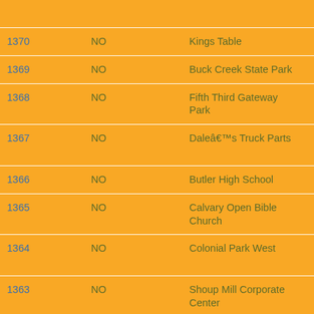| [ID] | [Approved?] | [Location] | [Name (truncated)] |
| --- | --- | --- | --- |
|  |  |  | Fina... |
| 1370 | NO | Kings Table | Torna... |
| 1369 | NO | Buck Creek State Park | Dirty Death... |
| 1368 | NO | Fifth Third Gateway Park | Conc... Imme... |
| 1367 | NO | Daleâs Truck Parts | 12th A... Imme... |
| 1366 | NO | Butler High School | Memo... |
| 1365 | NO | Calvary Open Bible Church | Full M... |
| 1364 | NO | Colonial Park West | Holy T... Wars... |
| 1363 | NO | Shoup Mill Corporate Center | Make... Grea... |
| 1362 | NO | House of Bread | Earth... |
| 1361 | NO | Old Kroger Fairborn | P. He... Catâ... |